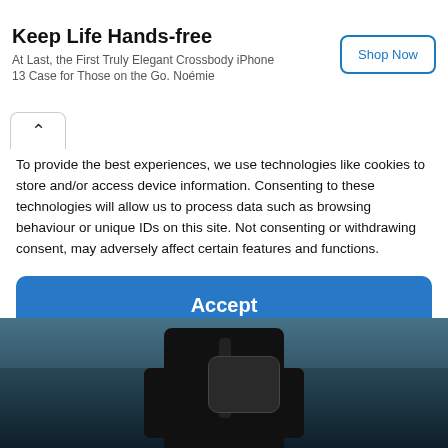[Figure (infographic): Advertisement banner: 'Keep Life Hands-free' with subtitle 'At Last, the First Truly Elegant Crossbody iPhone 13 Case for Those on the Go. Noémie' and a 'Shop Now' button]
To provide the best experiences, we use technologies like cookies to store and/or access device information. Consenting to these technologies will allow us to process data such as browsing behaviour or unique IDs on this site. Not consenting or withdrawing consent, may adversely affect certain features and functions.
Accept
Cookie Policy  Privacy Policy  Impressum
[Figure (photo): Photo of a person wearing a black wetsuit or crossbody bag/case, standing near water]